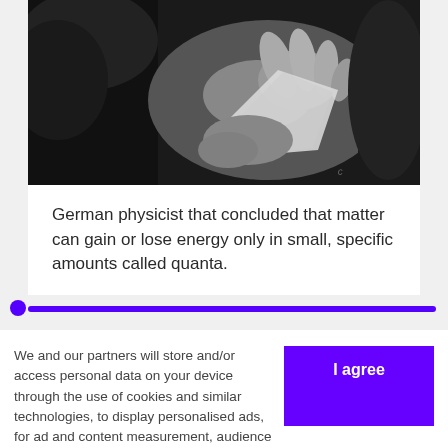[Figure (photo): Black and white photograph showing hands, cropped partial view of a person, dark tones]
German physicist that concluded that matter can gain or lose energy only in small, specific amounts called quanta.
We and our partners will store and/or access personal data on your device through the use of cookies and similar technologies, to display personalised ads, for ad and content measurement, audience insights and product development.

By clicking 'I agree,' you consent to this, or you can manage your preferences.